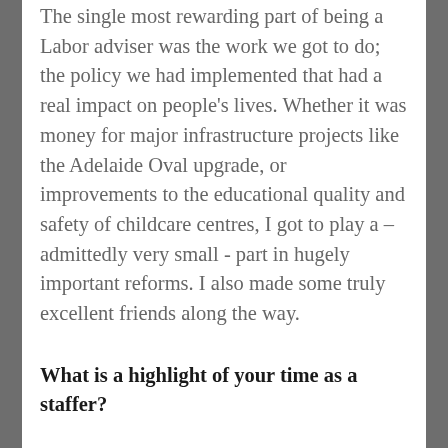The single most rewarding part of being a Labor adviser was the work we got to do; the policy we had implemented that had a real impact on people's lives. Whether it was money for major infrastructure projects like the Adelaide Oval upgrade, or improvements to the educational quality and safety of childcare centres, I got to play a – admittedly very small - part in hugely important reforms. I also made some truly excellent friends along the way.
What is a highlight of your time as a staffer?
There are lots of exciting, glitzy moments that stand out. Meeting US President Barack Obama when he came to Australia, visiting Zurich with Minister Ellis to launch Australia's